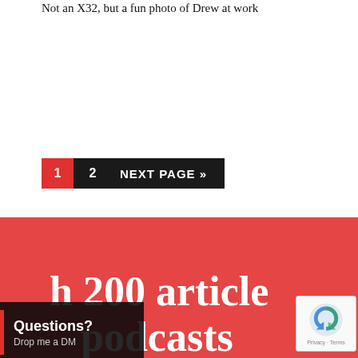Not an X32, but a fun photo of Drew at work
1  2  NEXT PAGE »
Search 200 articles
and podcasts
Questions?
Drop me a DM